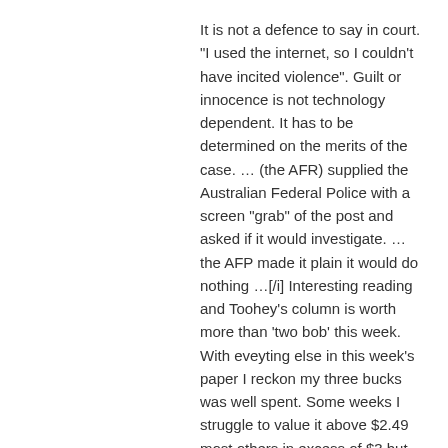It is not a defence to say in court. "I used the internet, so I couldn't have incited violence". Guilt or innocence is not technology dependent. It has to be determined on the merits of the case. ... (the AFR) supplied the Australian Federal Police with a screen "grab" of the post and asked if it would investigate. ... the AFP made it plain it would do nothing ...[/i] Interesting reading and Toohey’s column is worth more than 'two bob' this week. With eveyting else in this week's paper I reckon my three bucks was well spent. Some weeks I struggle to value it above $2.49 most others in excess of $3 but thems the breaks.
D Mick Weir
23/07/2011
Hi mick dis Mick welcomes dat mick and echoes the 'tweetie pie' Lyn's words
Lyn